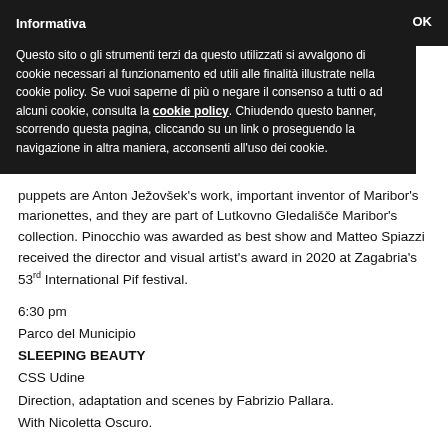Informativa
Questo sito o gli strumenti terzi da questo utilizzati si avvalgono di cookie necessari al funzionamento ed utili alle finalità illustrate nella cookie policy. Se vuoi saperne di più o negare il consenso a tutti o ad alcuni cookie, consulta la cookie policy. Chiudendo questo banner, scorrendo questa pagina, cliccando su un link o proseguendo la navigazione in altra maniera, acconsenti all'uso dei cookie.
puppets are Anton Ježovšek's work, important inventor of Maribor's marionettes, and they are part of Lutkovno Gledališče Maribor's collection. Pinocchio was awarded as best show and Matteo Spiazzi received the director and visual artist's award in 2020 at Zagabria's 53rd International Pif festival.
6:30 pm
Parco del Municipio
SLEEPING BEAUTY
CSS Udine
Direction, adaptation and scenes by Fabrizio Pallara.
With Nicoletta Oscuro.
Inside the story of the famous fairy tale a parallel story unravels, another version: it is the view of the seventh fairy who, with her